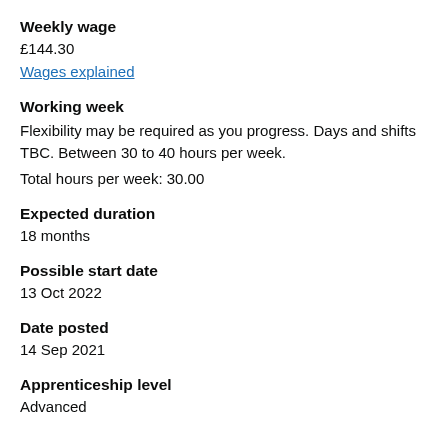Weekly wage
£144.30
Wages explained
Working week
Flexibility may be required as you progress. Days and shifts TBC. Between 30 to 40 hours per week.
Total hours per week: 30.00
Expected duration
18 months
Possible start date
13 Oct 2022
Date posted
14 Sep 2021
Apprenticeship level
Advanced